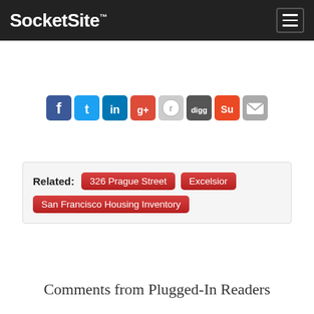SocketSite™
[Figure (other): Social sharing icons: Facebook, Twitter, LinkedIn, Google+, Reddit, Digg, StumbleUpon, Email]
Related: 326 Prague Street | Excelsior | San Francisco Housing Inventory
Comments from Plugged-In Readers